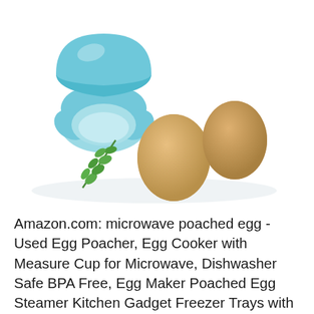[Figure (photo): Product photo showing two blue silicone egg poacher cups (one open, one closed shell-shaped) alongside two brown eggs and a sprig of green herbs on a white background.]
Amazon.com: microwave poached egg - Used Egg Poacher, Egg Cooker with Measure Cup for Microwave, Dishwasher Safe BPA Free, Egg Maker Poached Egg Steamer Kitchen Gadget Freezer Trays with Lid - with Recipe User Guide. 4.6 out of 5 stars 185. $7.99 $ 7. 99. Get it as soon as Mon, Aug 19. FREE Shipping on orders over $25 shipped by Amazon 27.08.2019 · Microwave egg poachers are time-saving devices that are inexpensive and effective at producing